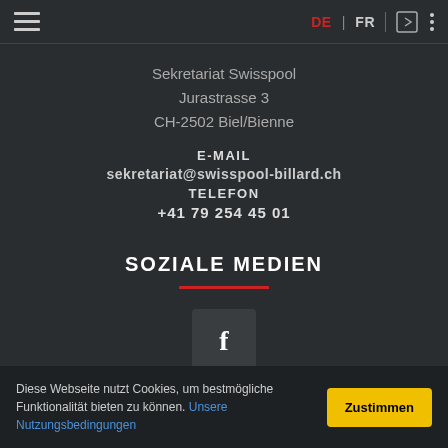DE | FR [navigation icons]
Sekretariat Swisspool
Jurastrasse 3
CH-2502 Biel/Bienne
E-MAIL
sekretariat@swisspool-billard.ch
TELEFON
+41 79 254 45 01
SOZIALE MEDIEN
[Figure (illustration): Facebook icon button - square dark box with white letter f]
Diese Webseite nutzt Cookies, um bestmögliche Funktionalität bieten zu können. Unsere Nutzungsbedingungen
Zustimmen